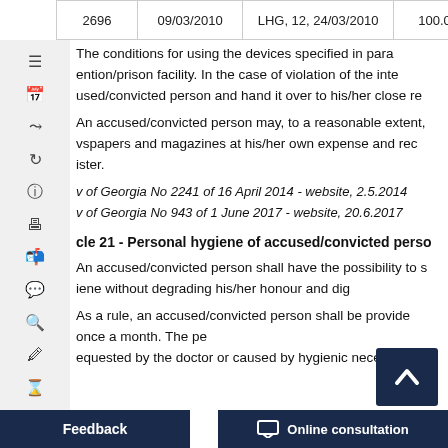| 2696 | 09/03/2010 | LHG, 12, 24/03/2010 | 100.0 |
| --- | --- | --- | --- |
The conditions for using the devices specified in para...ention/prison facility. In the case of violation of the inte...used/convicted person and hand it over to his/her close re...
An accused/convicted person may, to a reasonable extent, ...vspapers and magazines at his/her own expense and rec...ister.
v of Georgia No 2241 of 16 April 2014 - website, 2.5.2014
v of Georgia No 943 of 1 June 2017 - website, 20.6.2017
cle 21 - Personal hygiene of accused/convicted perso...
An accused/convicted person shall have the possibility to s...iene without degrading his/her honour and dig...
As a rule, an accused/convicted person shall be provide...once a month. The pe...a...equested by the doctor or caused by hygienic necessity.